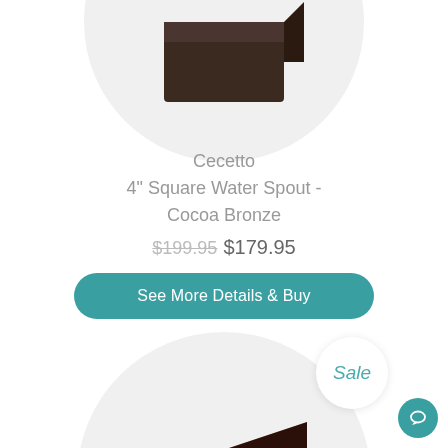[Figure (photo): Partial circular product image at top showing a dark bronze square water spout with Majest Water SFX logo badge]
Cecetto
4" Square Water Spout - Cocoa Bronze
$199.95 $179.95
See More Details & Buy
Sale
[Figure (photo): Circular product image showing a rose gold / copper colored square water spout box shape with open front, with Majest logo badge]